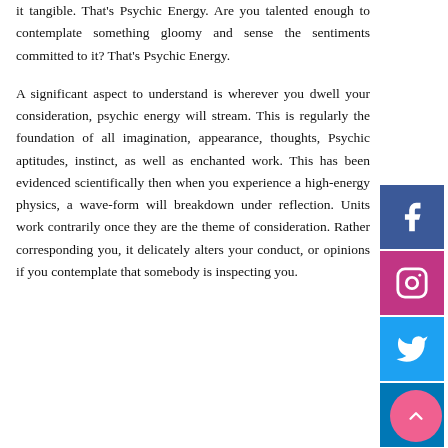it tangible. That's Psychic Energy. Are you talented enough to contemplate something gloomy and sense the sentiments committed to it? That's Psychic Energy.
A significant aspect to understand is wherever you dwell your consideration, psychic energy will stream. This is regularly the foundation of all imagination, appearance, thoughts, Psychic aptitudes, instinct, as well as enchanted work. This has been evidenced scientifically then when you experience a high-energy physics, a wave-form will breakdown under reflection. Units work contrarily once they are the theme of consideration. Rather corresponding you, it delicately alters your conduct, or opinions if you contemplate that somebody is inspecting you.